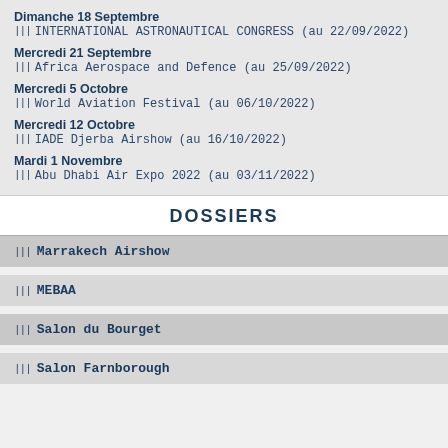Dimanche 18 Septembre
INTERNATIONAL ASTRONAUTICAL CONGRESS (au 22/09/2022)
Mercredi 21 Septembre
Africa Aerospace and Defence (au 25/09/2022)
Mercredi 5 Octobre
World Aviation Festival (au 06/10/2022)
Mercredi 12 Octobre
IADE Djerba Airshow (au 16/10/2022)
Mardi 1 Novembre
Abu Dhabi Air Expo 2022 (au 03/11/2022)
DOSSIERS
Marrakech Airshow
MEBAA
Salon du Bourget
Salon Farnborough